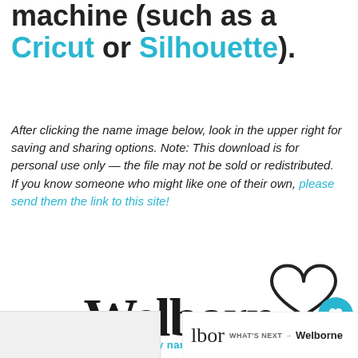machine (such as a Cricut or Silhouette).
After clicking the name image below, look in the upper right for saving and sharing options. Note: This download is for personal use only — the file may not be sold or redistributed. If you know someone who might like one of their own, please send them the link to this site!
[Figure (illustration): Welborn name in decorative handwritten script with a heart outline above and to the right]
YOU ARE HERE: Home - Boy names
WHAT'S NEXT → Welborne